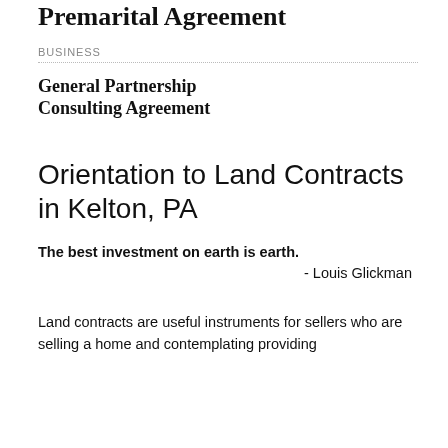Premarital Agreement
BUSINESS
General Partnership Consulting Agreement
Orientation to Land Contracts in Kelton, PA
The best investment on earth is earth.
- Louis Glickman
Land contracts are useful instruments for sellers who are selling a home and contemplating providing